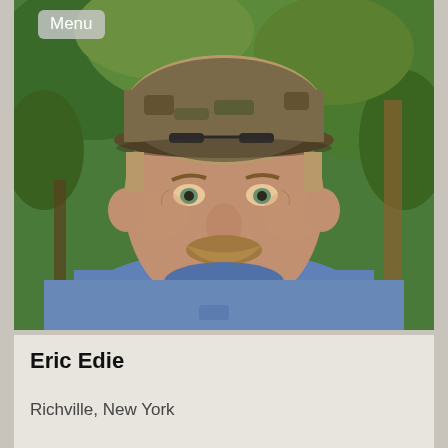[Figure (photo): Portrait photo of a middle-aged man with a mustache, wearing a blue t-shirt and a camouflage baseball cap, smiling, outdoors with green trees in the background. A 'Menu' button overlay appears in the top-left corner of the photo.]
Eric Edie
Richville, New York